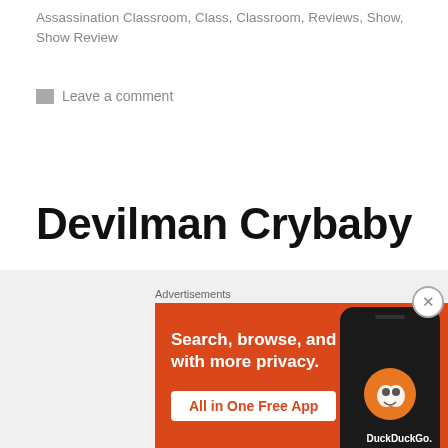Assassination Classroom, Class, Classroom, Reviews, Show, Show Review
Leave a comment
Devilman Crybaby
A mysterious infestation is slowly working its way through the human population. Devils have been inhabiting human bodies and have started to attack.
[Figure (screenshot): DuckDuckGo advertisement banner with orange background. Text reads: Search, browse, and email with more privacy. All in One Free App. Shows DuckDuckGo logo and a phone mockup on the right side.]